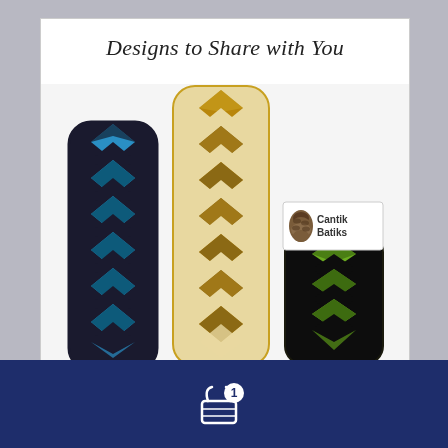Designs to Share with You
[Figure (photo): Three quilt table runner designs: left one in blue and black batik fabric, center one in gold/brown and cream batik fabric (tallest), right one in green and black batik fabric. Cantik Batiks logo visible in upper right of the quilt display area.]
[Figure (logo): Cantik Batiks logo with a pinecone graphic and text 'Cantik Batiks']
[Figure (infographic): Shopping cart icon with badge showing number 1, on dark navy blue background bar at bottom of page.]